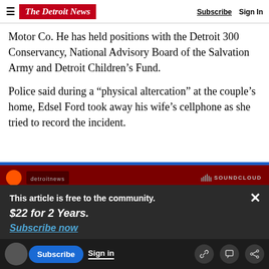The Detroit News | Subscribe | Sign In
Motor Co. He has held positions with the Detroit 300 Conservancy, National Advisory Board of the Salvation Army and Detroit Children's Fund.
Police said during a “physical altercation” at the couple’s home, Edsel Ford took away his wife’s cellphone as she tried to record the incident.
[Figure (screenshot): SoundCloud audio player embed showing detroitnews and SoundCloud branding on dark red background]
This article is free to the community.
$22 for 2 Years.
Subscribe now
Subscribe | Sign in